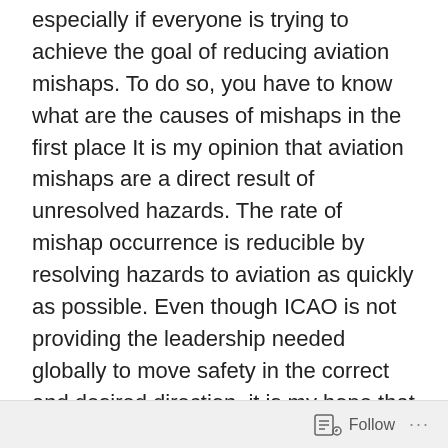especially if everyone is trying to achieve the goal of reducing aviation mishaps. To do so, you have to know what are the causes of mishaps in the first place It is my opinion that aviation mishaps are a direct result of unresolved hazards. The rate of mishap occurrence is reducible by resolving hazards to aviation as quickly as possible. Even though ICAO is not providing the leadership needed globally to move safety in the correct and desired direction, it is my hope that many other safety minded managers are, and are doing so by regularly working to quickly resolve hazards to safe flight operations. Best regards, Paul Miller
See ICAO Report below:
Wednesday, December 7, 2011
Follow ...